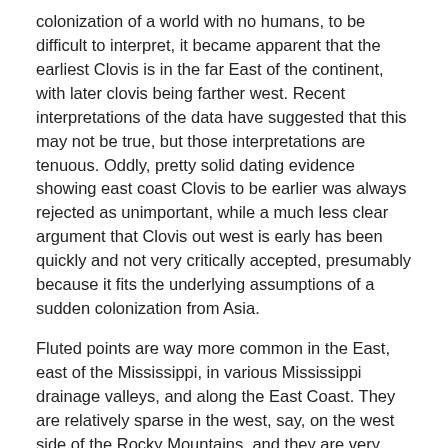colonization of a world with no humans, to be difficult to interpret, it became apparent that the earliest Clovis is in the far East of the continent, with later clovis being farther west. Recent interpretations of the data have suggested that this may not be true, but those interpretations are tenuous. Oddly, pretty solid dating evidence showing east coast Clovis to be earlier was always rejected as unimportant, while a much less clear argument that Clovis out west is early has been quickly and not very critically accepted, presumably because it fits the underlying assumptions of a sudden colonization from Asia.
Fluted points are way more common in the East, east of the Mississippi, in various Mississippi drainage valleys, and along the East Coast. They are relatively sparse in the west, say, on the west side of the Rocky Mountains, and they are very rare in Alaska. So, the distribution of fluted points is exactly the opposite of what one might expect with a simple model of Asians arriving in North America, suddenly becoming Clovis, then spreading from there.
Of the fluted points found in North America, the oldest style, Clovis, is mainly an Eastern phenomenon, with later styles, such as Folsom, are more in the West. If the so-called spatio-temporal boundaries of these styles is correct, and Clovis is